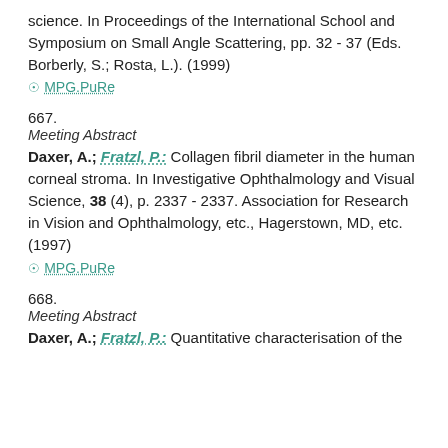science. In Proceedings of the International School and Symposium on Small Angle Scattering, pp. 32 - 37 (Eds. Borberly, S.; Rosta, L.). (1999)
MPG.PuRe
667.
Meeting Abstract
Daxer, A.; Fratzl, P.: Collagen fibril diameter in the human corneal stroma. In Investigative Ophthalmology and Visual Science, 38 (4), p. 2337 - 2337. Association for Research in Vision and Ophthalmology, etc., Hagerstown, MD, etc. (1997)
MPG.PuRe
668.
Meeting Abstract
Daxer, A.; Fratzl, P.: Quantitative characterisation of the